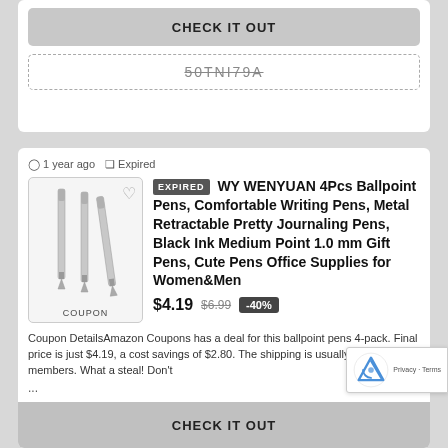CHECK IT OUT
50TNI79A
1 year ago  Expired
EXPIRED WY WENYUAN 4Pcs Ballpoint Pens, Comfortable Writing Pens, Metal Retractable Pretty Journaling Pens, Black Ink Medium Point 1.0 mm Gift Pens, Cute Pens Office Supplies for Women&Men
$4.19  $6.99  -40%
Coupon DetailsAmazon Coupons has a deal for this ballpoint pens 4-pack. Final price is just $4.19, a cost savings of $2.80. The shipping is usually free for prime members. What a steal! Don't ...
CHECK IT OUT